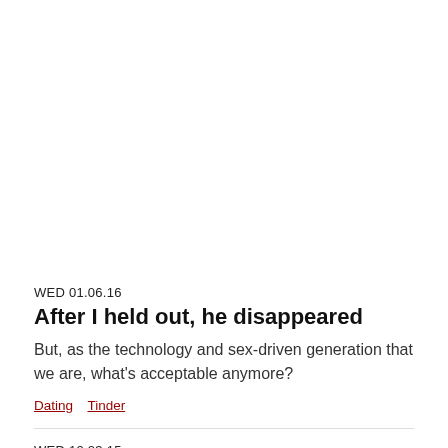WED 01.06.16
After I held out, he disappeared
But, as the technology and sex-driven generation that we are, what's acceptable anymore?
Dating   Tinder
WED 12.23.15